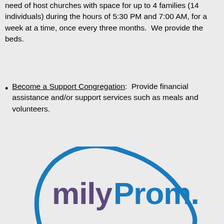need of host churches with space for up to 4 families (14 individuals) during the hours of 5:30 PM and 7:00 AM, for a week at a time, once every three months.  We provide the beds.
Become a Support Congregation:  Provide financial assistance and/or support services such as meals and volunteers.
[Figure (logo): Partial circular logo showing 'milyProm.' text in purple and blue arc, likely part of 'FamilyPromise' logo]